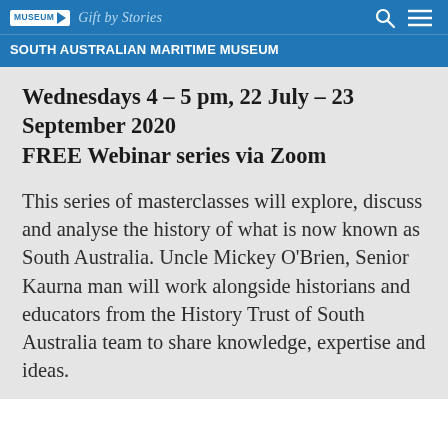SOUTH AUSTRALIAN MARITIME MUSEUM | Gift by Stories
Wednesdays 4 – 5 pm, 22 July – 23 September 2020
FREE Webinar series via Zoom
This series of masterclasses will explore, discuss and analyse the history of what is now known as South Australia. Uncle Mickey O'Brien, Senior Kaurna man will work alongside historians and educators from the History Trust of South Australia team to share knowledge, expertise and ideas.